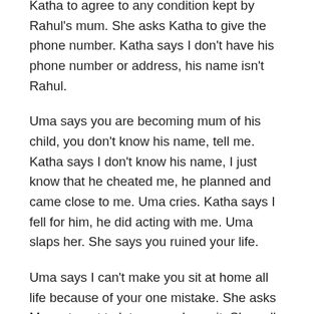Katha to agree to any condition kept by Rahul's mum. She asks Katha to give the phone number. Katha says I don't have his phone number or address, his name isn't Rahul.
Uma says you are becoming mum of his child, you don't know his name, tell me. Katha says I don't know his name, I just know that he cheated me, he planned and came close to me. Uma cries. Katha says I fell for him, he did acting with me. Uma slaps her. She says you ruined your life.
Uma says I can't make you sit at home all life because of your one mistake. She asks Manyata not to let anyone know it. She calls Malti. She tells about Katha by naming someone else. She asks about the hospital where the baby can get aborted.
Katha cries in shock. Uma asks Manyata to find about the